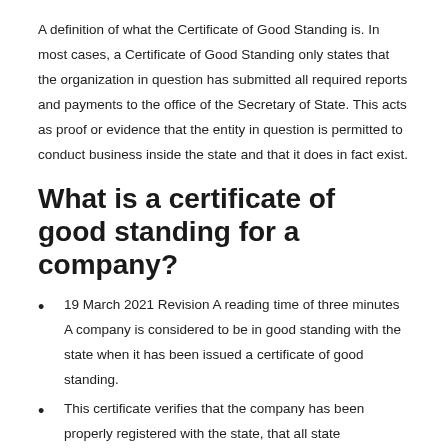A definition of what the Certificate of Good Standing is. In most cases, a Certificate of Good Standing only states that the organization in question has submitted all required reports and payments to the office of the Secretary of State. This acts as proof or evidence that the entity in question is permitted to conduct business inside the state and that it does in fact exist.
What is a certificate of good standing for a company?
19 March 2021 Revision A reading time of three minutes A company is considered to be in good standing with the state when it has been issued a certificate of good standing.
This certificate verifies that the company has been properly registered with the state, that all state registration fees and required document filings have been paid in full, and that the company is allowed to permitted to conduct business.